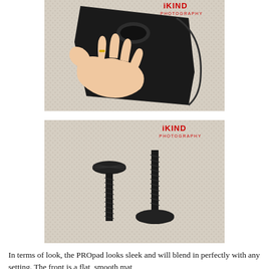[Figure (photo): A hand resting on a black camera hand strap / PROpad lying on beige carpet. The strap is black with a circular cutout. A wedding ring is visible on the hand. iKIND Photography watermark in top right.]
[Figure (photo): Two black thumbscrews / mounting bolts lying on beige carpet — one with head up and one with head down. iKIND Photography watermark in top right.]
In terms of look, the PROpad looks sleek and will blend in perfectly with any setting. The front is a flat, smooth mat